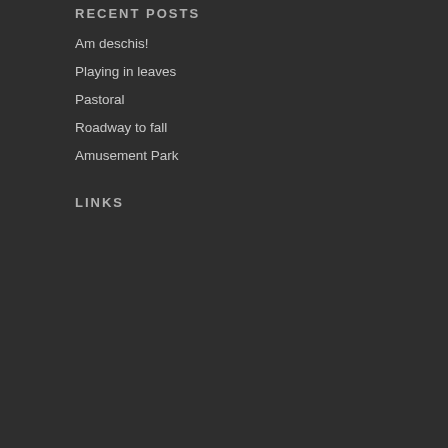RECENT POSTS
Am deschis!
Playing in leaves
Pastoral
Roadway to fall
Amusement Park
LINKS